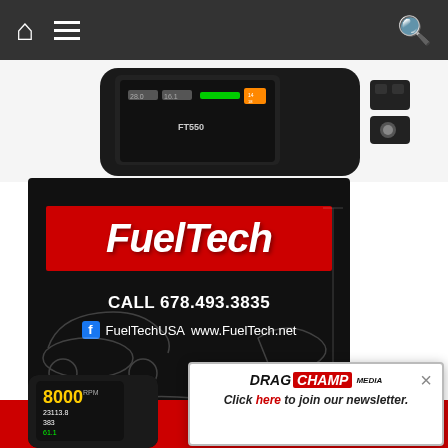[Figure (screenshot): Mobile website navigation bar with home icon, hamburger menu, and search icon on dark gray background]
[Figure (photo): FuelTech FT550 product device with display screen and connected components on white background]
[Figure (illustration): FuelTech advertisement banner on black background with car outlines, red FuelTech logo box, phone number 678.493.3835, FuelTechUSA Facebook and www.FuelTech.net website]
[Figure (screenshot): DragChamp Media popup newsletter signup overlay with close X button and click here text]
[Figure (photo): FuelTech device with RPM display showing 8000 on red background partial view bottom left]